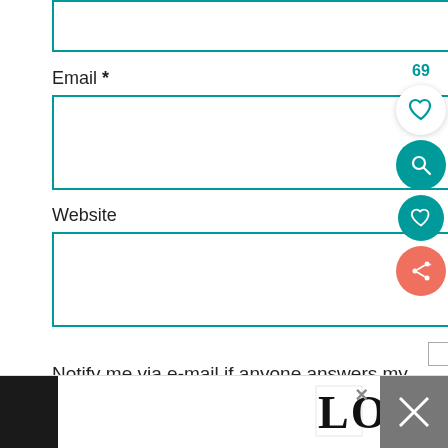[Figure (screenshot): Teal-bordered input box (top, partially cut off)]
Email *
[Figure (screenshot): Teal-bordered email input box]
Website
[Figure (screenshot): Teal-bordered website input box]
Notify me via e-mail if anyone answers my comment.
post comment
[Figure (screenshot): Bottom advertisement bar with LOOVE text art logo and close button]